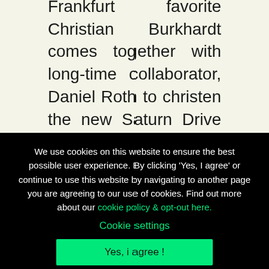Frankfurt favorite Christian Burkhardt comes together with long-time collaborator, Daniel Roth to christen the new Saturn Drive Records imprint
We use cookies on this website to ensure the best possible user experience. By clicking 'Yes, I agree' or continue to use this website by navigating to another page you are agreeing to our use of cookies. Find out more about our cookie policy & opt-out here.
Cookie settings
Yes, i agree !